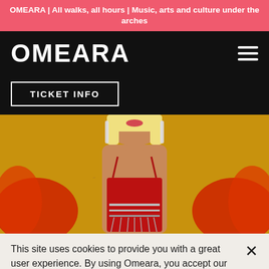OMEARA | All walks, all hours | Music, arts and culture under the arches
OMEARA
TICKET INFO
[Figure (photo): A performer with blonde hair wearing a red corset with chain fringe details and red gloves, posed against a golden/yellow background with hands on hips.]
This site uses cookies to provide you with a great user experience. By using Omeara, you accept our use of cookies.